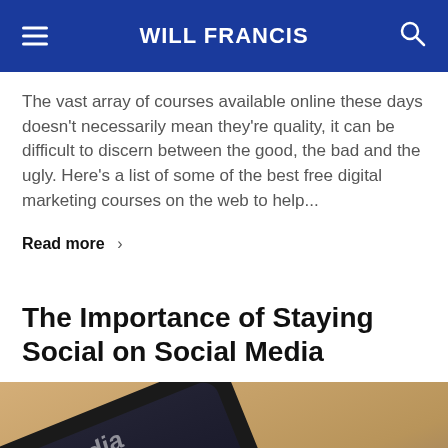WILL FRANCIS
The vast array of courses available online these days doesn't necessarily mean they're quality, it can be difficult to discern between the good, the bad and the ugly. Here's a list of some of the best free digital marketing courses on the web to help...
Read more >
The Importance of Staying Social on Social Media
[Figure (photo): Close-up photo of a smartphone with social media apps visible on screen including Facebook and Twitter icons, resting on a warm-toned wooden surface.]